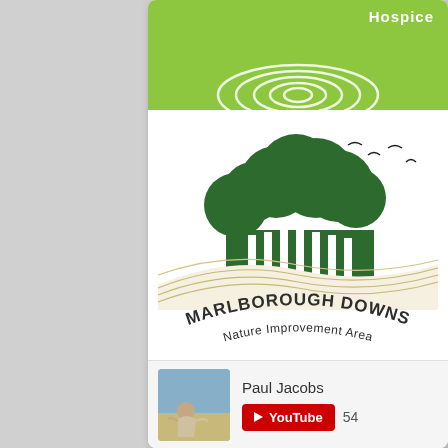[Figure (logo): Green banner with white spiral/ripple logo and 'Hospice' text in white]
[Figure (logo): Marlborough Downs Nature Improvement Area logo: dark green stylized trees silhouette over rolling hills with field lines, birds in sky, curved text 'MARLBOROUGH DOWNS Nature Improvement Area']
Paul Jacobs
[Figure (logo): YouTube button (red with white play triangle) labeled 'YouTube' with count 54, next to a small avatar photo of a person sitting in a field]